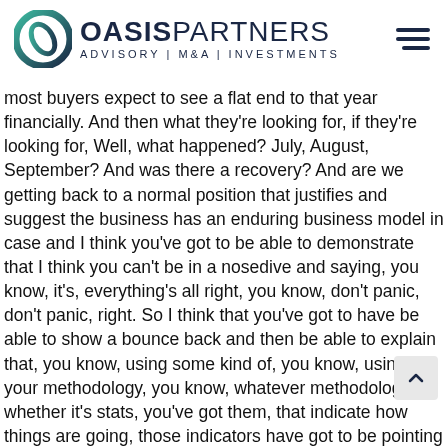[Figure (logo): Oasis Partners logo with circular gradient icon and text 'OASIS PARTNERS ADVISORY | M&A | INVESTMENTS' and a hamburger menu icon on the right]
most buyers expect to see a flat end to that year financially. And then what they're looking for, if they're looking for, Well, what happened? July, August, September? And was there a recovery? And are we getting back to a normal position that justifies and suggest the business has an enduring business model in case and I think you've got to be able to demonstrate that I think you can't be in a nosedive and saying, you know, it's, everything's all right, you know, don't panic, don't panic, right. So I think that you've got to have be able to show a bounce back and then be able to explain that, you know, using some kind of, you know, using your methodology, you know, whatever methodology, whether it's stats, you've got them, that indicate how things are going, those indicators have got to be pointing in a positive direction for a buyer to take the business seriously. So I think, you know, we're talking to people about that. So when we don't have indicators and you can be comfortable that to a great all the